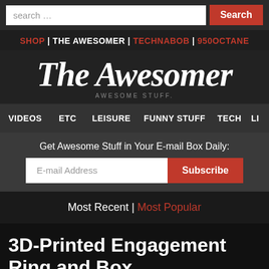search … Search
SHOP | THE AWESOMER | TECHNABOB | 950OCTANE
[Figure (logo): The Awesomer logo in script font with tagline AWESOME STUFF.]
VIDEOS  ETC  LEISURE  FUNNY STUFF  TECH  LI
Get Awesome Stuff in Your E-mail Box Daily:
E-mail Address  Subscribe
Most Recent | Most Popular
3D-Printed Engagement Ring and Box